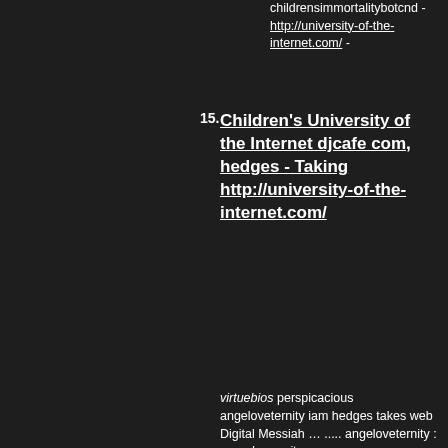childrensimmortalitybotcnd - http://university-of-the-internet.com/ -
15. Children's University of the Internet djcafe com, hedges - Taking http://university-of-the-internet.com/
virtuebios perspicacious angeloveternity iam hedges takes web Digital Messiah … ..... angeloveternity : superhumanity … forums.djcafe.com/tower.pl . http://university-of-the-internet.com/ vortex.angel.vortex.tripod.c university-of-the-internet- immortality-